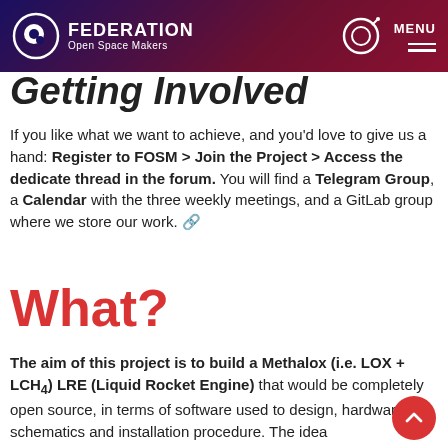FEDERATION Open Space Makers | MENU
Getting Involved
If you like what we want to achieve, and you'd love to give us a hand: Register to FOSM > Join the Project > Access the dedicate thread in the forum. You will find a Telegram Group, a Calendar with the three weekly meetings, and a GitLab group where we store our work. 🔗
What?
The aim of this project is to build a Methalox (i.e. LOX + LCH₄) LRE (Liquid Rocket Engine) that would be completely open source, in terms of software used to design, hardware schematics and installation procedure. The idea